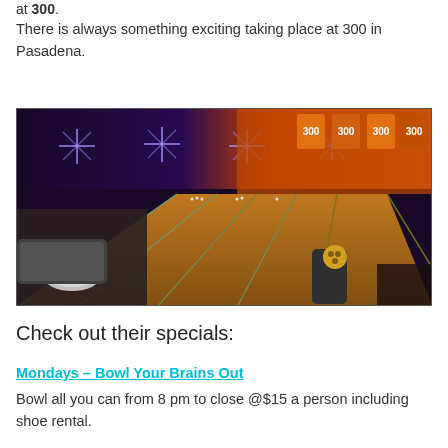at 300.
There is always something exciting taking place at 300 in Pasadena.
[Figure (photo): Interior of a modern bowling alley with glowing purple and orange neon lighting, multiple lanes visible, seating area with round tables and black benches in foreground, ball returns visible, '300' logos on screens at the back]
Check out their specials:
Mondays – Bowl Your Brains Out
Bowl all you can from 8 pm to close @$15 a person including shoe rental.